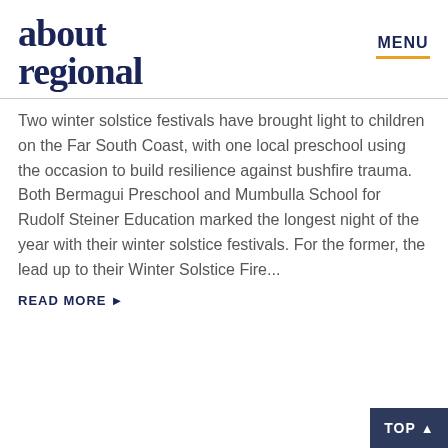about regional | MENU
Two winter solstice festivals have brought light to children on the Far South Coast, with one local preschool using the occasion to build resilience against bushfire trauma. Both Bermagui Preschool and Mumbulla School for Rudolf Steiner Education marked the longest night of the year with their winter solstice festivals. For the former, the lead up to their Winter Solstice Fire...
READ MORE ▶